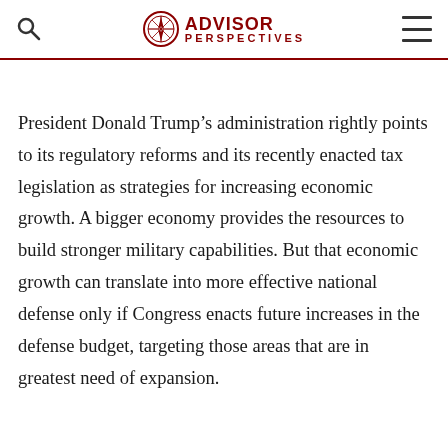ADVISOR PERSPECTIVES
President Donald Trump’s administration rightly points to its regulatory reforms and its recently enacted tax legislation as strategies for increasing economic growth. A bigger economy provides the resources to build stronger military capabilities. But that economic growth can translate into more effective national defense only if Congress enacts future increases in the defense budget, targeting those areas that are in greatest need of expansion.